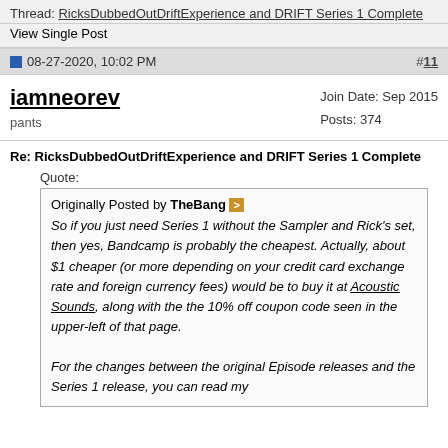Thread: RicksDubbedOutDriftExperience and DRIFT Series 1 Complete
View Single Post
08-27-2020, 10:02 PM   #11
iamneorev
pants
Join Date: Sep 2015
Posts: 374
Re: RicksDubbedOutDriftExperience and DRIFT Series 1 Complete
Quote:
Originally Posted by TheBang >
So if you just need Series 1 without the Sampler and Rick's set, then yes, Bandcamp is probably the cheapest. Actually, about $1 cheaper (or more depending on your credit card exchange rate and foreign currency fees) would be to buy it at Acoustic Sounds, along with the the 10% off coupon code seen in the upper-left of that page.

For the changes between the original Episode releases and the Series 1 release, you can read my